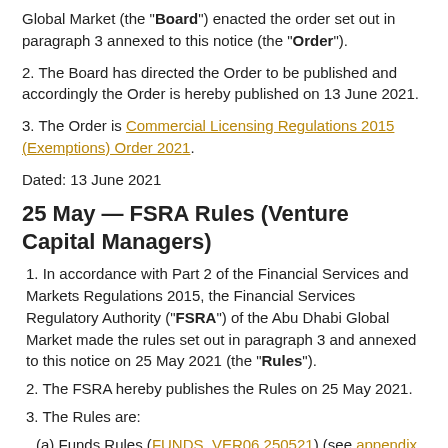Global Market (the "Board") enacted the order set out in paragraph 3 annexed to this notice (the "Order").
2. The Board has directed the Order to be published and accordingly the Order is hereby published on 13 June 2021.
3. The Order is Commercial Licensing Regulations 2015 (Exemptions) Order 2021.
Dated: 13 June 2021
25 May — FSRA Rules (Venture Capital Managers)
1. In accordance with Part 2 of the Financial Services and Markets Regulations 2015, the Financial Services Regulatory Authority (“FSRA”) of the Abu Dhabi Global Market made the rules set out in paragraph 3 and annexed to this notice on 25 May 2021 (the “Rules”).
2. The FSRA hereby publishes the Rules on 25 May 2021.
3. The Rules are:
(a) Funds Rules (FUNDS_VER06.250521) (see appendix for